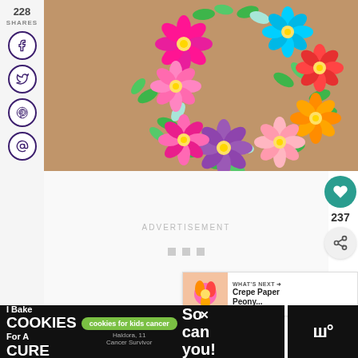[Figure (photo): Paper flower wreath made of colorful paper flowers (pink, blue, red, orange, purple, light pink) with green leaves arranged in a circular wreath shape on a kraft brown background]
228
SHARES
[Figure (infographic): Social media sharing buttons: Facebook, Twitter, Pinterest, Email — each in a purple circle outline]
ADVERTISEMENT
[Figure (infographic): Heart/like button in teal circle showing 237, and a share button]
[Figure (infographic): What's Next panel showing a flower image thumbnail with text 'WHAT'S NEXT → Crepe Paper Peony...']
[Figure (infographic): Footer advertisement banner: 'I Bake COOKIES For A CURE' with Haldora, 11 Cancer Survivor, cookies for kids cancer badge, and 'So can you!' text. Close X button. Right side shows watermark logo.]